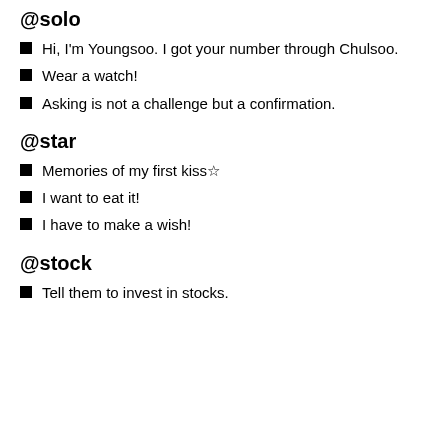@solo
Hi, I'm Youngsoo. I got your number through Chulsoo.
Wear a watch!
Asking is not a challenge but a confirmation.
@star
Memories of my first kiss☆
I want to eat it!
I have to make a wish!
@stock
Tell them to invest in stocks.